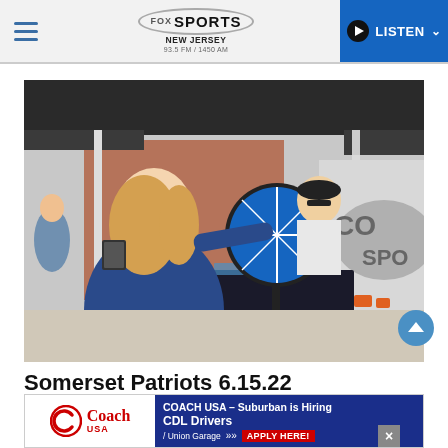FOX SPORTS NEW JERSEY 93.5 FM / 1450 AM — LISTEN
[Figure (photo): A girl in a blue hoodie spins a prize wheel at a Fox Sports New Jersey event booth outdoors. A man in a Fox Sports shirt stands behind the wheel. A Fox Sports branded truck is visible in the background under a dark tent canopy.]
Somerset Patriots 6.15.22
[Figure (other): Coach USA advertisement banner: 'COACH USA – Suburban is Hiring CDL Drivers / Union Garage >> APPLY HERE!']